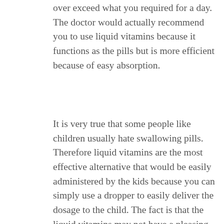over exceed what you required for a day. The doctor would actually recommend you to use liquid vitamins because it functions as the pills but is more efficient because of easy absorption.
It is very true that some people like children usually hate swallowing pills. Therefore liquid vitamins are the most effective alternative that would be easily administered by the kids because you can simply use a dropper to easily deliver the dosage to the child. The fact is that the liquid vitamins may not have a pleasing taste. It is also allowed to mix the vitamin with foods and drinks to improve the taste but you should always follow the physician's direction as well as the manufacturer's instructions.
Additionally people who have stomach upsets may not be able to easily digest and donot absorb the vitamin tablets or pills effectively. In order for your body to obtain these nutrients from tablets your body should